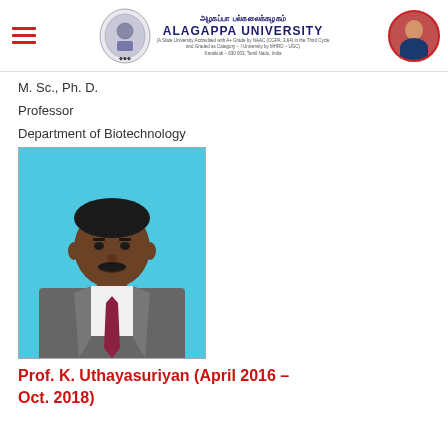அழகப்பா பல்கலைக்கழகம் ALAGAPPA UNIVERSITY
M. Sc., Ph. D.
Professor
Department of Biotechnology
[Figure (photo): Portrait photo of Prof. K. Uthayasuriyan wearing a grey suit and dark red tie, against a light blue background]
Prof. K. Uthayasuriyan (April 2016 – Oct. 2018)